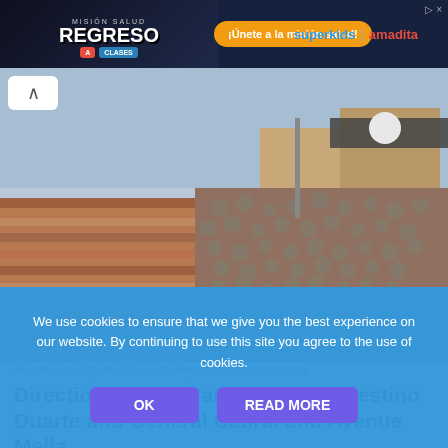[Figure (photo): Ad banner with 'Regreso a Clases' Misión Salud branding on the left, orange button '¡Únete a la misión salud!' in the center, and superkids | amadita logos on the right]
[Figure (photo): Photograph of Fuerte San Miguel stone walls with buildings visible behind them, watermark '@www.colonialzone-dr.com']
Fuerte San Miguel Calle Jose Reyes and Restauracion
Directions: Duarte and Vicente Celestino Duarte and General Cabral and Avenue Mella
We use cookies to ensure that we give you the best experience on our website. By continuing to use this site you agree to the use of cookies.